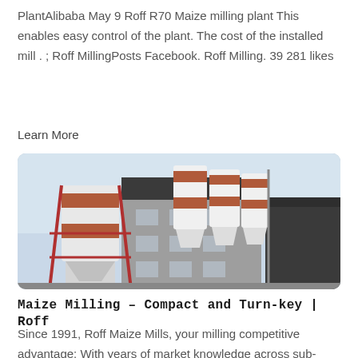PlantAlibaba May 9 Roff R70 Maize milling plant This enables easy control of the plant. The cost of the installed mill . ; Roff MillingPosts Facebook. Roff Milling. 39 281 likes
Learn More
[Figure (photo): Industrial maize milling plant building with large cylindrical silos/storage tanks painted white with red/brown horizontal bands, supported by red metal framework. Multi-story grey concrete building in background. Sky visible above.]
Maize Milling - Compact and Turn-key | Roff
Since 1991, Roff Maize Mills, your milling competitive advantage: With years of market knowledge across sub-Sahara, we understand your clients and develop